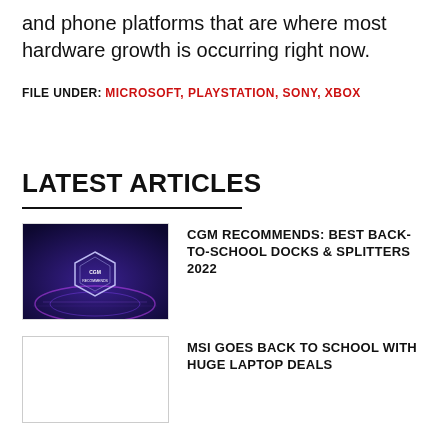and phone platforms that are where most hardware growth is occurring right now.
FILE UNDER: MICROSOFT, PLAYSTATION, SONY, XBOX
LATEST ARTICLES
CGM RECOMMENDS: BEST BACK-TO-SCHOOL DOCKS & SPLITTERS 2022
MSI GOES BACK TO SCHOOL WITH HUGE LAPTOP DEALS